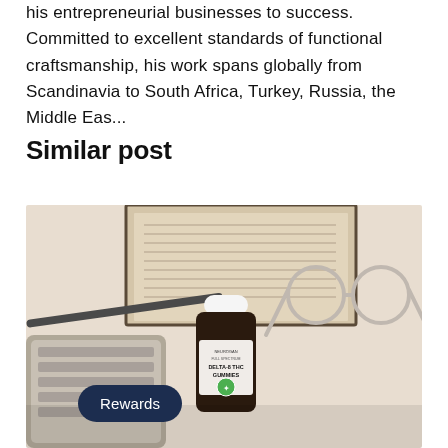his entrepreneurial businesses to success. Committed to excellent standards of functional craftsmanship, his work spans globally from Scandinavia to South Africa, Turkey, Russia, the Middle Eas...
Similar post
[Figure (photo): Flat-lay photo of a desk with a keyboard, open book, glasses, and a dark bottle of NEUROGAN DELTA-8 THC GUMMIES supplement, on a light beige background. A dark blue pill-shaped 'Rewards' button is overlaid at the bottom left.]